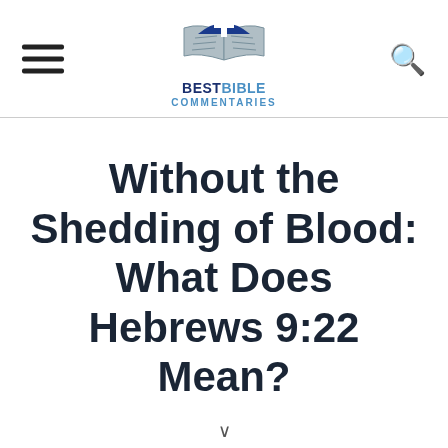[Figure (logo): Best Bible Commentaries logo with blue cross over open book, with hamburger menu icon on left and search icon on right]
Without the Shedding of Blood: What Does Hebrews 9:22 Mean?